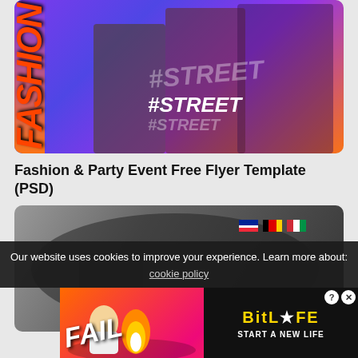[Figure (photo): Fashion & Party event flyer mockup showing a street fashion themed flyer with colorful typography reading FASHION and #STREET, with figures in the background]
Fashion & Party Event Free Flyer Template (PSD)
[Figure (photo): Motor/motocross themed flyer template showing a motorcycle rider with red MOTOR text on a dark grungy background]
Our website uses cookies to improve your experience. Learn more about: cookie policy
[Figure (infographic): BitLife advertisement banner with FAIL text and Start A New Life tagline on orange/red background]